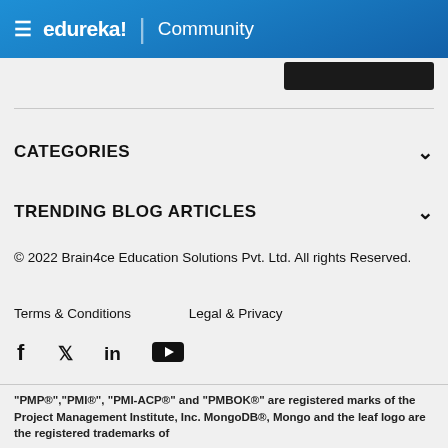edureka! | Community
CATEGORIES
TRENDING BLOG ARTICLES
© 2022 Brain4ce Education Solutions Pvt. Ltd. All rights Reserved.
Terms & Conditions    Legal & Privacy
[Figure (other): Social media icons: Facebook, Twitter, LinkedIn, YouTube]
"PMP®","PMI®", "PMI-ACP®" and "PMBOK®" are registered marks of the Project Management Institute, Inc. MongoDB®, Mongo and the leaf logo are the registered trademarks of